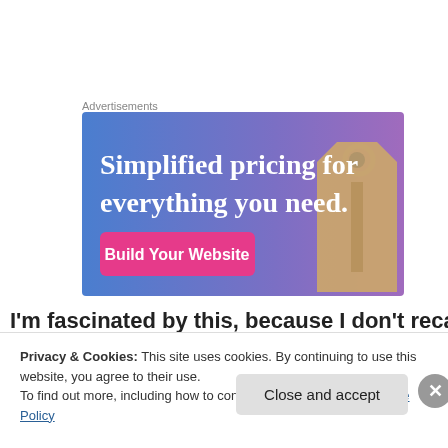Advertisements
[Figure (screenshot): An advertisement banner with a blue-to-purple gradient background showing a price tag image on the right, large white text reading 'Simplified pricing for everything you need.' and a pink/magenta button labeled 'Build Your Website']
I'm fascinated by this, because I don't recall ever having
Privacy & Cookies: This site uses cookies. By continuing to use this website, you agree to their use.
To find out more, including how to control cookies, see here: Cookie Policy
Close and accept